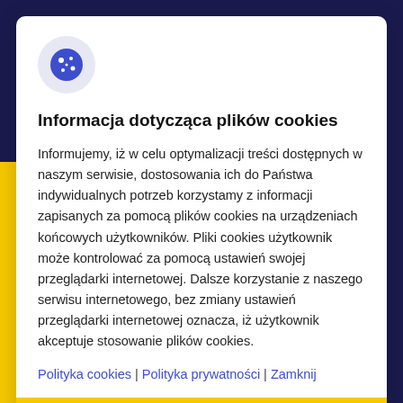[Figure (logo): Cookie icon — blue stylized cookie with dots on a light purple/grey circular background]
Informacja dotycząca plików cookies
Informujemy, iż w celu optymalizacji treści dostępnych w naszym serwisie, dostosowania ich do Państwa indywidualnych potrzeb korzystamy z informacji zapisanych za pomocą plików cookies na urządzeniach końcowych użytkowników. Pliki cookies użytkownik może kontrolować za pomocą ustawień swojej przeglądarki internetowej. Dalsze korzystanie z naszego serwisu internetowego, bez zmiany ustawień przeglądarki internetowej oznacza, iż użytkownik akceptuje stosowanie plików cookies.
Polityka cookies | Polityka prywatności | Zamknij
Akceptuję
Praca dla absolwentów – rozwijaj karierę w finansach